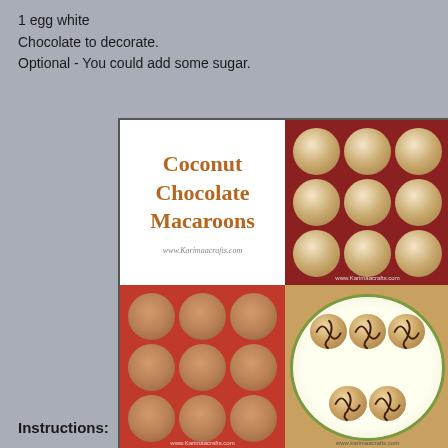1 egg white
Chocolate to decorate.
Optional - You could add some sugar.
[Figure (photo): A 2x2 photo collage showing Coconut Chocolate Macaroons. Top-left: title card reading 'Coconut Chocolate Macaroons' with website www.Karimaacrafts.com. Top-right: baked macaroons arranged in a 3x3 grid on a red silicone tray in an oven. Bottom-left: raw macaroon batter in red silicone molds in a 3x3 grid. Bottom-right: finished chocolate-drizzled coconut macaroons arranged on a decorative ceramic plate on a wooden surface.]
Instructions: